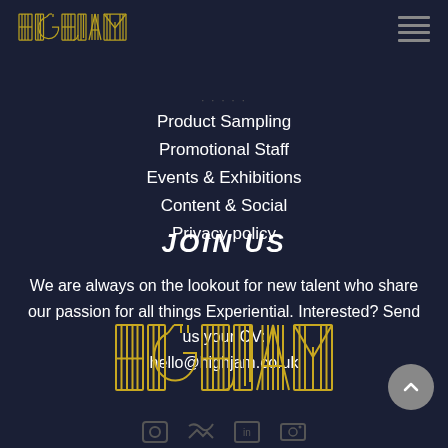[Figure (logo): HIGHJAM logo in gold striped lettering, small version in top left]
[Figure (other): Hamburger menu icon in top right corner]
Product Sampling
Promotional Staff
Events & Exhibitions
Content & Social
Privacy policy
JOIN US
We are always on the lookout for new talent who share our passion for all things Experiential. Interested? Send us your CV: hello@highjam.co.uk
[Figure (logo): HIGHJAM logo in large gold striped lettering at bottom]
[Figure (other): Back to top button (grey circle with upward chevron)]
[Figure (other): Social media icons row at very bottom]